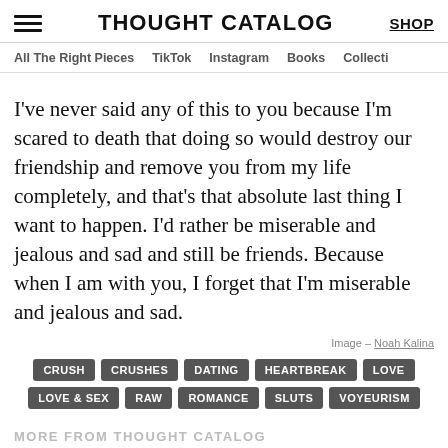THOUGHT CATALOG | SHOP
All The Right Pieces   TikTok   Instagram   Books   Collecti
I've never said any of this to you because I'm scared to death that doing so would destroy our friendship and remove you from my life completely, and that's that absolute last thing I want to happen. I'd rather be miserable and jealous and sad and still be friends. Because when I am with you, I forget that I'm miserable and jealous and sad.
Image – Noah Kalina
CRUSH
CRUSHES
DATING
HEARTBREAK
LOVE
LOVE & SEX
RAW
ROMANCE
SLUTS
VOYEURISM
MORE FROM THOUGHT CATALOG